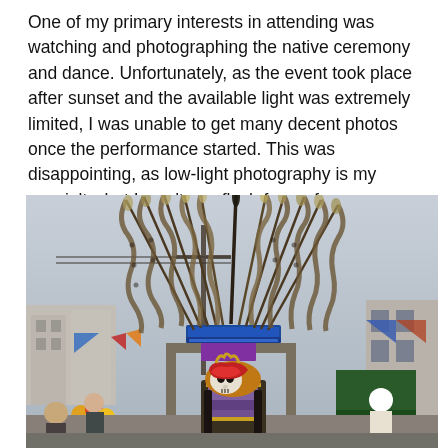One of my primary interests in attending was watching and photographing the native ceremony and dance. Unfortunately, as the event took place after sunset and the available light was extremely limited, I was unable to get many decent photos once the performance started. This was disappointing, as low-light photography is my specialty, but I won't use flash for performances.
[Figure (photo): A person wearing an elaborate Aztec/Mesoamerican ceremonial headdress with tall feathers spreading upward and a decorated skull helmet/mask. The person is at an outdoor festival street setting with colorful banners, buildings, balloons in background, and other attendees visible.]